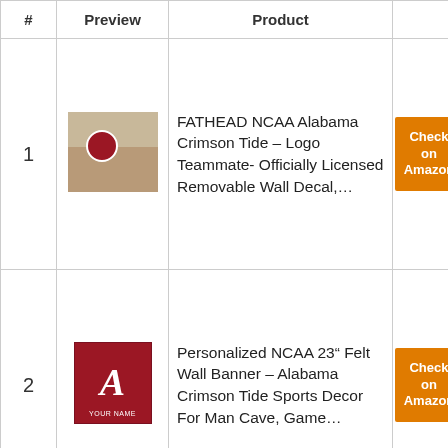| # | Preview | Product |  |
| --- | --- | --- | --- |
| 1 | [product image 1] | FATHEAD NCAA Alabama Crimson Tide – Logo Teammate- Officially Licensed Removable Wall Decal,… | Check on Amazon |
| 2 | [product image 2] | Personalized NCAA 23" Felt Wall Banner – Alabama Crimson Tide Sports Decor For Man Cave, Game… | Check on Amazon |